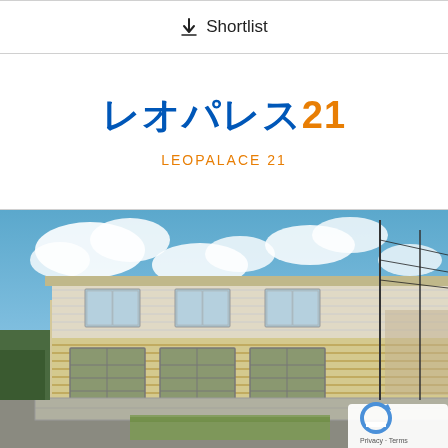↓ Shortlist
[Figure (logo): Leopalace 21 Japanese logo with blue katakana text and orange '21', with English subtitle 'LEOPALACE 21' in orange]
[Figure (photo): Exterior photo of a two-story apartment building with light grey/beige siding under a blue sky with clouds. The building has a retaining wall in front and utility poles visible. A reCAPTCHA badge is overlaid in the bottom right corner.]